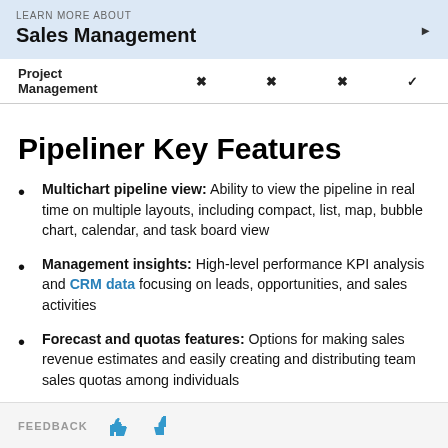LEARN MORE ABOUT
Sales Management
| Project Management |  |  |  |  |
| --- | --- | --- | --- | --- |
| Project Management | ✗ | ✗ | ✗ | ✓ |
Pipeliner Key Features
Multichart pipeline view: Ability to view the pipeline in real time on multiple layouts, including compact, list, map, bubble chart, calendar, and task board view
Management insights: High-level performance KPI analysis and CRM data focusing on leads, opportunities, and sales activities
Forecast and quotas features: Options for making sales revenue estimates and easily creating and distributing team sales quotas among individuals
FEEDBACK 👍 👎